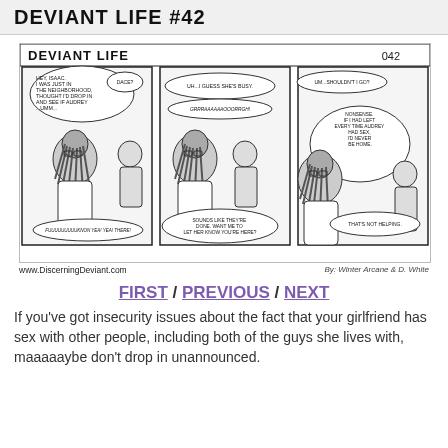DEVIANT LIFE #42
[Figure (illustration): Three-panel black and white comic strip titled 'DEVIANT LIFE' numbered 042. Panel 1: A person with dreadlocks and glasses stands at a door talking to someone, speech bubble says 'HEY, ISAAC. I WAS JUST IN THE NEIGHBORHOOD, THOUGHT I'D DROP IN AND SEE IF AUDREY ...UMM...' and 'DACE?' with a sound effect 'FUUUUUUUUUKNON YEA! YEA! THERE!'. Panel 2: Same scene from another angle, speech bubbles say 'UH...I GUESS SHE'S BUSY.' and 'GRRRAAAAAAOOORRGH!' with response 'SOUNDS LIKE THEY'RE DONE. WANT ME TO LET HER KNOW YOU'RE HERE?'. Panel 3: Close-up of the person with dreadlocks looking uncomfortable, speech bubbles say 'UM...SHOULDN'T I GO?' and 'NONSENSE. IF I HAD LEFT EVERY TIME AUDREY HAD SEX, I'D NEVER BE HOME.' with response 'THAT'S NOT HELPING.']
www.DiscerningDeviant.com    By: Winter Arcane & D. White
FIRST / PREVIOUS / NEXT
If you've got insecurity issues about the fact that your girlfriend has sex with other people, including both of the guys she lives with, maaaaaybe don't drop in unannounced.